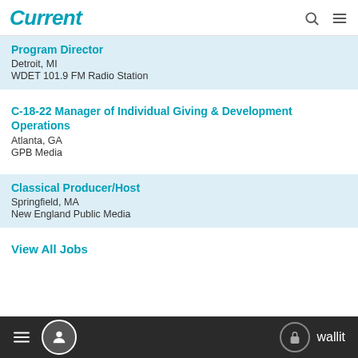Current
Program Director
Detroit, MI
WDET 101.9 FM Radio Station
C-18-22 Manager of Individual Giving & Development Operations
Atlanta, GA
GPB Media
Classical Producer/Host
Springfield, MA
New England Public Media
View All Jobs
wallit